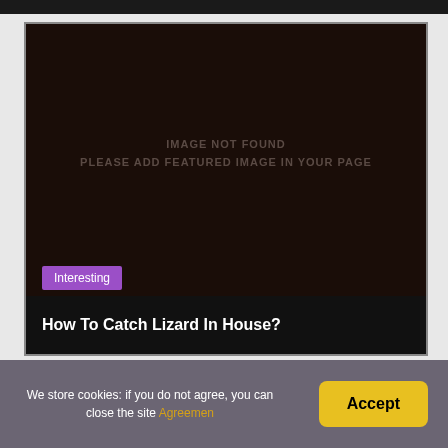[Figure (other): Dark brown image placeholder with text 'IMAGE NOT FOUND PLEASE ADD FEATURED IMAGE IN YOUR PAGE' in the center, with a purple 'Interesting' tag label overlaid near the bottom]
How To Catch Lizard In House?
We store cookies: if you do not agree, you can close the site Agreement
Accept